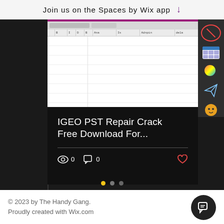Join us on the Spaces by Wix app
[Figure (screenshot): Screenshot of a spreadsheet application with dark sidebar and icon bar on the right side]
IGEO PST Repair Crack Free Download For...
0 views · 0 comments · 0 likes
© 2023 by The Handy Gang.
Proudly created with Wix.com